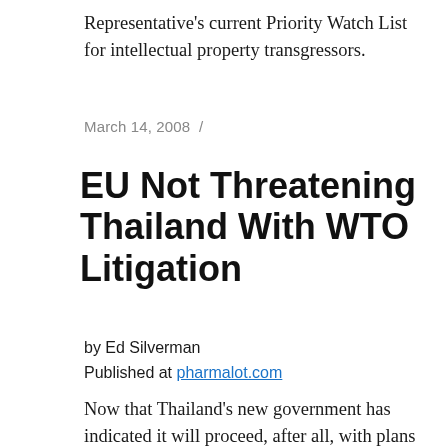Representative's current Priority Watch List for intellectual property transgressors.
March 14, 2008 /
EU Not Threatening Thailand With WTO Litigation
by Ed Silverman
Published at pharmalot.com
Now that Thailand's new government has indicated it will proceed, after all, with plans to issue compulsory licenses for three cancer